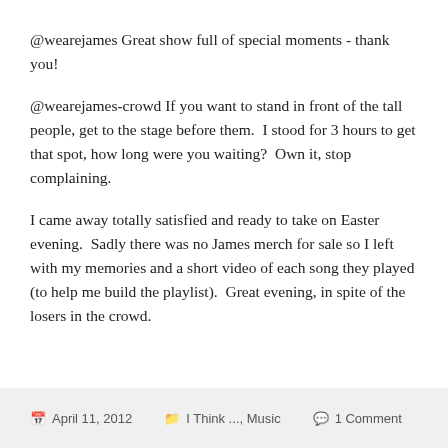@wearejames Great show full of special moments - thank you!
@wearejames-crowd If you want to stand in front of the tall people, get to the stage before them.  I stood for 3 hours to get that spot, how long were you waiting?  Own it, stop complaining.
I came away totally satisfied and ready to take on Easter evening.  Sadly there was no James merch for sale so I left with my memories and a short video of each song they played (to help me build the playlist).  Great evening, in spite of the losers in the crowd.
April 11, 2012   I Think ..., Music   1 Comment